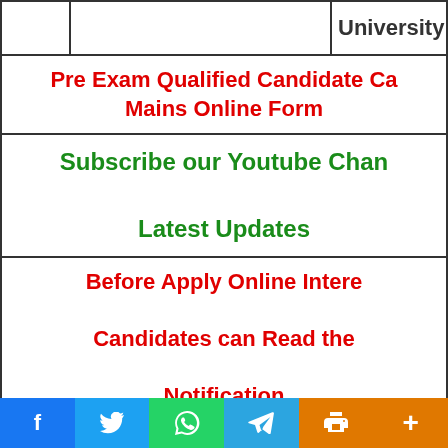|  |  | University |
| --- | --- | --- |
Pre Exam Qualified Candidate Ca... Mains Online Form
Subscribe our Youtube Chan... Latest Updates
Before Apply Online Intere... Candidates can Read the Notification
Facebook | Twitter | WhatsApp | Telegram | Print | More